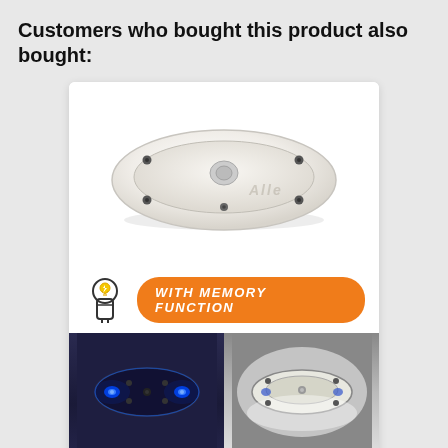Customers who bought this product also bought:
[Figure (photo): Product card for a 12V LED Interior Light Oval, showing top view of oval white LED light fixture with memory function badge, and two bottom photos showing blue LED glow and white LED glow. Price shown as $38.90.]
12V LED Interior Light Oval...
$38.90